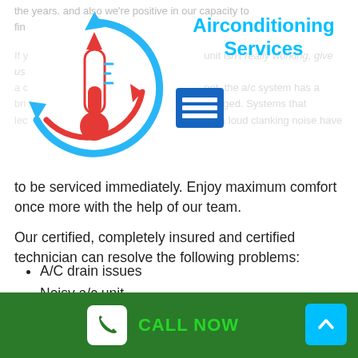the years. and also we're positive in our capacity to fin
[Figure (illustration): Air conditioning service icon: a circular arrow with thermometer in blue and red, with a blue square menu icon overlay]
Airconditioning Services
to be serviced immediately. Enjoy maximum comfort once more with the help of our team.
Our certified, completely insured and certified technician can resolve the following problems:
A/C drain issues
Noisy a/c unit
Rusted brackets
AC valve issues
A/c compressor issues
CALL NOW